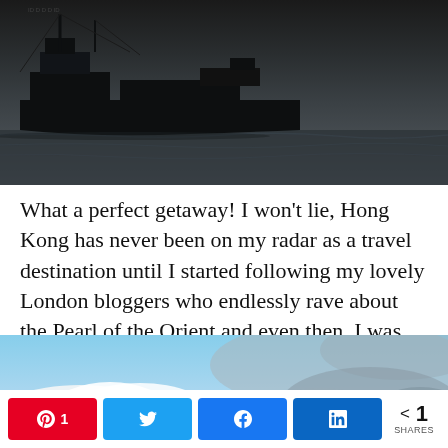[Figure (photo): Dark silhouette of a junk ship on water, dark moody sky, high contrast black and dark grey tones]
What a perfect getaway! I won't lie, Hong Kong has never been on my radar as a travel destination until I started following my lovely London bloggers who endlessly rave about the Pearl of the Orient and even then, I was never fully convinced that I'd love the city so much.
[Figure (photo): Blue sky with white clouds, slightly overcast]
Share bar with Pinterest (1), Twitter, Facebook, LinkedIn buttons and total 1 SHARES